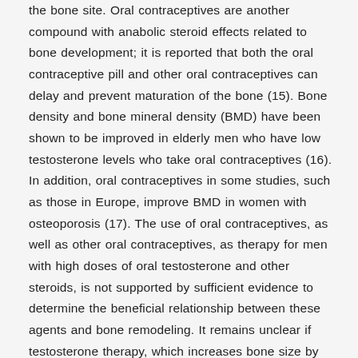the bone site. Oral contraceptives are another compound with anabolic steroid effects related to bone development; it is reported that both the oral contraceptive pill and other oral contraceptives can delay and prevent maturation of the bone (15). Bone density and bone mineral density (BMD) have been shown to be improved in elderly men who have low testosterone levels who take oral contraceptives (16). In addition, oral contraceptives in some studies, such as those in Europe, improve BMD in women with osteoporosis (17). The use of oral contraceptives, as well as other oral contraceptives, as therapy for men with high doses of oral testosterone and other steroids, is not supported by sufficient evidence to determine the beneficial relationship between these agents and bone remodeling. It remains unclear if testosterone therapy, which increases bone size by inhibiting steroidogenic and osteogenic activities, is